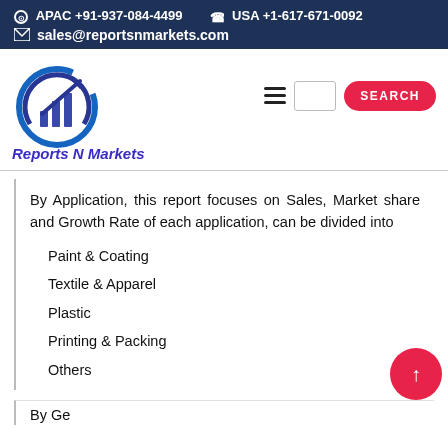⊙ APAC +91-937-084-4499   ☎ USA +1-617-671-0092
✉ sales@reportsnmarkets.com
[Figure (logo): Reports N Markets logo with bar chart and circular arrow icon]
By Application, this report focuses on Sales, Market share and Growth Rate of each application, can be divided into
Paint & Coating
Textile & Apparel
Plastic
Printing & Packing
Others